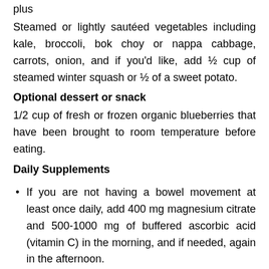plus
Steamed or lightly sautéed vegetables including kale, broccoli, bok choy or nappa cabbage, carrots, onion, and if you'd like, add ½ cup of steamed winter squash or ½ of a sweet potato.
Optional dessert or snack
1/2 cup of fresh or frozen organic blueberries that have been brought to room temperature before eating.
Daily Supplements
If you are not having a bowel movement at least once daily, add 400 mg magnesium citrate and 500-1000 mg of buffered ascorbic acid (vitamin C) in the morning, and if needed, again in the afternoon.